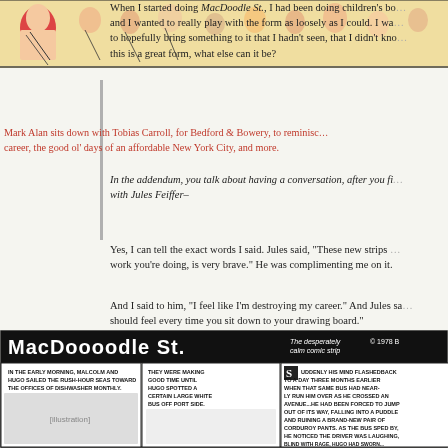[Figure (illustration): Black and white dense illustration of many faces and figures in a crowded comic-style drawing, banner at top of page]
When I started doing MacDoodle St., I had been doing children's books, and I wanted to really play with the form as loosely as I could. I wanted to hopefully bring something to it that I hadn't seen, that I didn't know— this is a great form, what else can it be?
Mark Alan sits down with Tobias Carroll, for Bedford & Bowery, to reminisce about his career, the good ol' days of an affordable New York City, and more.
In the addendum, you talk about having a conversation, after you finished, with Jules Feiffer–
Yes, I can tell the exact words I said. Jules said, "These new strips you're work you're doing, is very brave." He was complimenting me on it.
And I said to him, "I feel like I'm destroying my career." And Jules sa... should feel every time you sit down to your drawing board."
[Figure (illustration): MacDoodle St. comic strip — The desperately calm comic strip. Shows Malcolm and Hugo sailing rush-hour seas toward the offices of Dishwasher Monthly. They spot a large white bus. Hugo's mind flashback. Copyright 1978.]